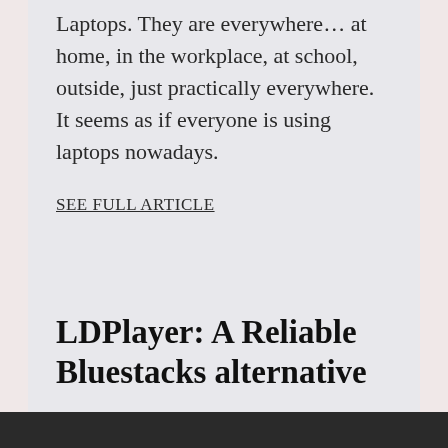Laptops. They are everywhere… at home, in the workplace, at school, outside, just practically everywhere. It seems as if everyone is using laptops nowadays.
SEE FULL ARTICLE
LDPlayer: A Reliable Bluestacks alternative
Victor Wachanga     29/01/2021
[Figure (photo): Dark rectangular image strip at the bottom of the page]